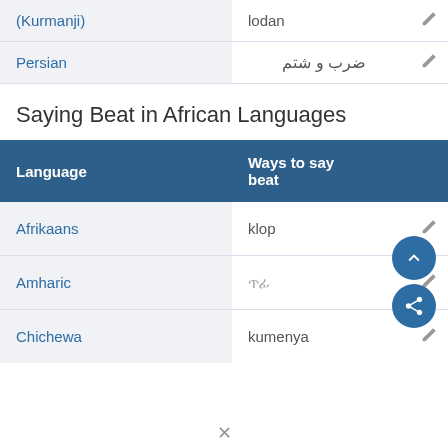| Language | Ways to say beat |  |
| --- | --- | --- |
| (Kurmanji) | lodan |  |
| Persian | ضرب و شتم |  |
Saying Beat in African Languages
| Language | Ways to say beat |  |
| --- | --- | --- |
| Afrikaans | klop |  |
| Amharic | ጥፊ |  |
| Chichewa | kumenya |  |